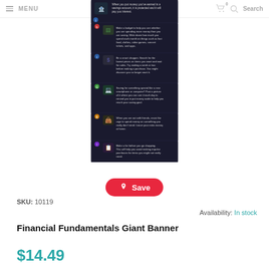MENU   0   Search
[Figure (screenshot): Dark-themed infographic showing financial fundamentals tips with icons and text on a black background]
[Figure (other): Red Pinterest Save button]
SKU: 10119
Availability: In stock
Financial Fundamentals Giant Banner
$14.49